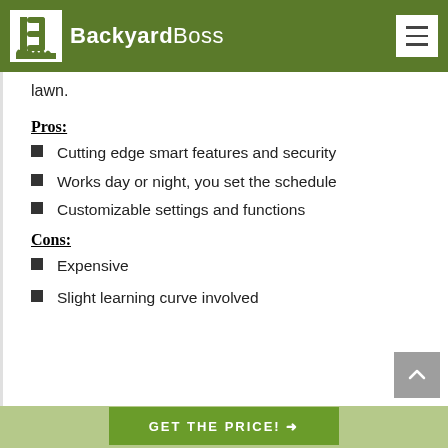BackyardBoss
lawn.
Pros:
Cutting edge smart features and security
Works day or night, you set the schedule
Customizable settings and functions
Cons:
Expensive
Slight learning curve involved
GET THE PRICE! →